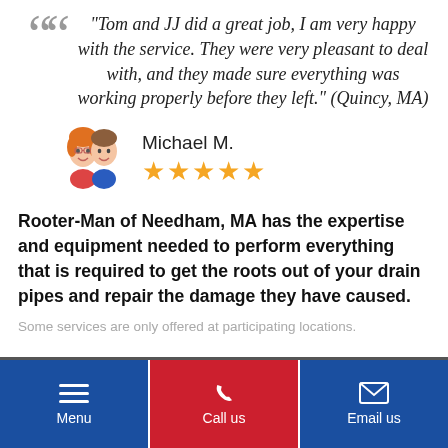"Tom and JJ did a great job, I am very happy with the service. They were very pleasant to deal with, and they made sure everything was working properly before they left." (Quincy, MA)
[Figure (illustration): Cartoon avatar of a couple (woman with red hair and man with brown hair)]
Michael M.
★★★★★
Rooter-Man of Needham, MA has the expertise and equipment needed to perform everything that is required to get the roots out of your drain pipes and repair the damage they have caused.
Some services are only offered at participating locations.
Menu | Call us | Email us